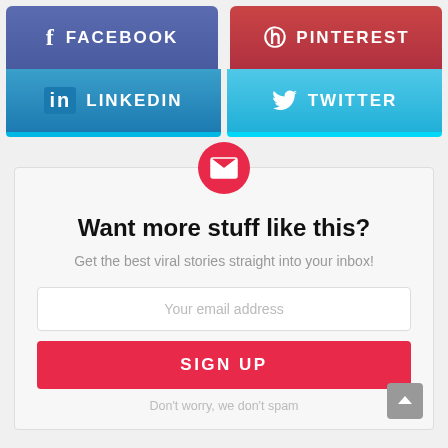[Figure (screenshot): Facebook share button (blue-purple gradient) with f icon and FACEBOOK text]
[Figure (screenshot): Pinterest share button (red gradient) with P icon and PINTEREST text]
[Figure (screenshot): LinkedIn share button (blue gradient) with in icon and LINKEDIN text]
[Figure (screenshot): Twitter share button (light blue gradient) with bird icon and TWITTER text]
[Figure (infographic): Email signup widget with red mail icon circle, title, subtitle, email input, sign up button, and no-spam note]